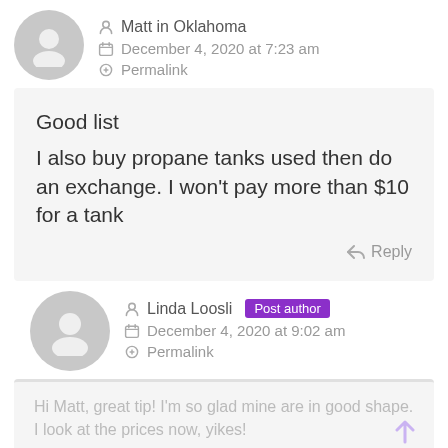Matt in Oklahoma
December 4, 2020 at 7:23 am
Permalink
Good list
I also buy propane tanks used then do an exchange. I won't pay more than $10 for a tank
Reply
Linda Loosli Post author
December 4, 2020 at 9:02 am
Permalink
Hi Matt, great tip! I'm so glad mine are in good shape. I look at the prices now, yikes!